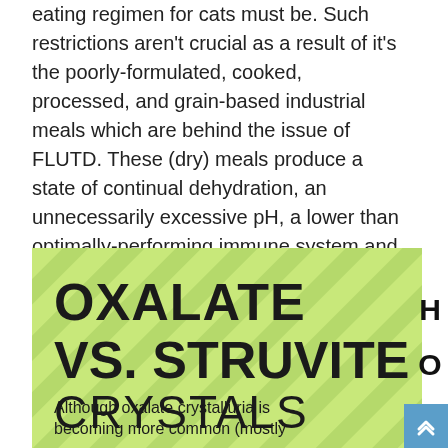eating regimen for cats must be. Such restrictions aren't crucial as a result of it's the poorly-formulated, cooked, processed, and grain-based industrial meals which are behind the issue of FLUTD. These (dry) meals produce a state of continual dehydration, an unnecessarily excessive pH, a lower than optimally-performing immune system and a lower than wholesome lining (epithelium or mucosa) within the urinary tract.
[Figure (infographic): Green diagonal-striped infographic panel with bold text reading 'OXALATE VS. STRUVITE CRYSTALS' and body text beginning 'Although oxalate crystalluria is becoming more common (mostly']